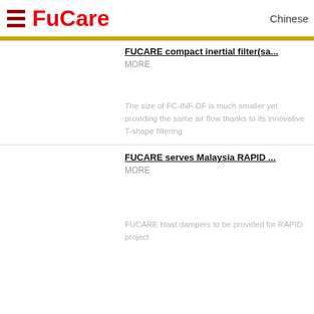FuCare | Chinese
FUCARE compact inertial filter(sa...
MORE
The size of FC-INF-DF is much smaller yet providing the same air flow thanks to its innovative T-shape filtering
FUCARE serves Malaysia RAPID ...
MORE
FUCARE blast dampers to be provided for RAPID project